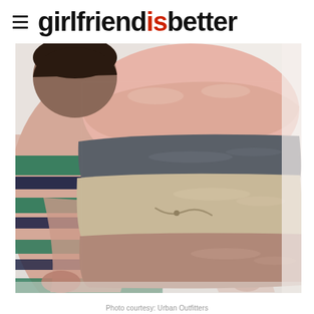girlfriend is better
[Figure (photo): Person holding a large stack of folded fleece garments in various colors including pink, dark grey, tan/beige, and mauve/brown. The person is wearing a colorful striped sherpa/fleece jacket with green, navy, and pink horizontal stripes.]
Photo courtesy: Urban Outfitters